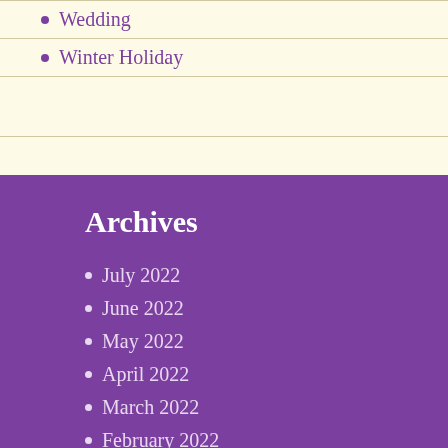Wedding
Winter Holiday
Archives
July 2022
June 2022
May 2022
April 2022
March 2022
February 2022
January 2022
December 2021
November 2021
October 2021